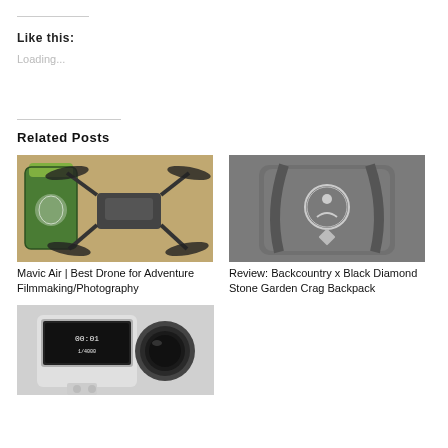Like this:
Loading...
Related Posts
[Figure (photo): Photo of a DJI Mavic Air drone next to a green Nalgene water bottle on a wooden table]
Mavic Air | Best Drone for Adventure Filmmaking/Photography
[Figure (photo): Close-up photo of a Backcountry x Black Diamond Stone Garden Crag Backpack, gray color with logo]
Review: Backcountry x Black Diamond Stone Garden Crag Backpack
[Figure (photo): Photo of a GoPro action camera showing 00:01 on the display screen with large lens visible]